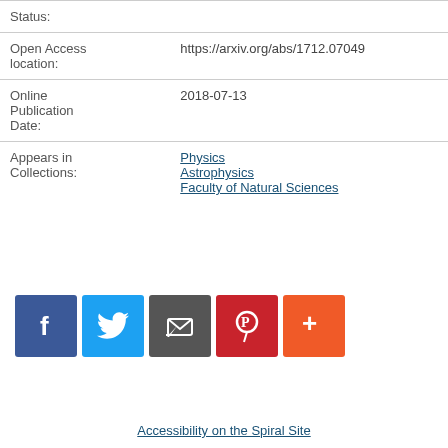| Status: |  |
| Open Access location: | https://arxiv.org/abs/1712.07049 |
| Online Publication Date: | 2018-07-13 |
| Appears in Collections: | Physics
Astrophysics
Faculty of Natural Sciences |
[Figure (infographic): Social sharing buttons: Facebook (blue), Twitter (light blue), Share/email (dark gray), Pinterest (red), More (orange-red)]
Accessibility on the Spiral Site